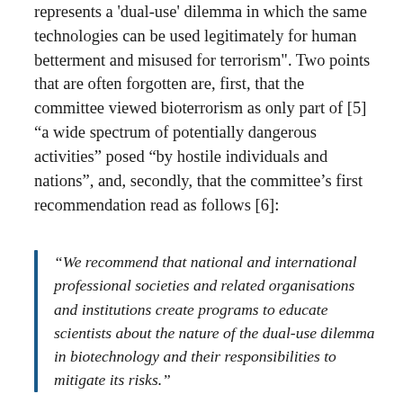represents a 'dual-use' dilemma in which the same technologies can be used legitimately for human betterment and misused for terrorism". Two points that are often forgotten are, first, that the committee viewed bioterrorism as only part of [5] “a wide spectrum of potentially dangerous activities” posed “by hostile individuals and nations”, and, secondly, that the committee’s first recommendation read as follows [6]:
“We recommend that national and international professional societies and related organisations and institutions create programs to educate scientists about the nature of the dual-use dilemma in biotechnology and their responsibilities to mitigate its risks.”